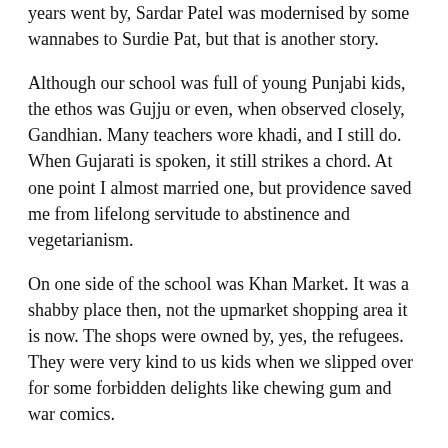years went by, Sardar Patel was modernised by some wannabes to Surdie Pat, but that is another story.
Although our school was full of young Punjabi kids, the ethos was Gujju or even, when observed closely, Gandhian. Many teachers wore khadi, and I still do. When Gujarati is spoken, it still strikes a chord. At one point I almost married one, but providence saved me from lifelong servitude to abstinence and vegetarianism.
On one side of the school was Khan Market. It was a shabby place then, not the upmarket shopping area it is now. The shops were owned by, yes, the refugees. They were very kind to us kids when we slipped over for some forbidden delights like chewing gum and war comics.
I was once told that a former RBI Governor's father owned a bookshop there. It is still there. There used to be an Empire Stores also at the corner but it's gone now. It had a little cousin outside the Gymkhana Club, at the roundabout. There was also a post office there along with a petrol pump in the same building. It has been locked but not demolished for 55 years now.
On another side were the Lodhi Gardens and the under-construction India International Centre. I await for